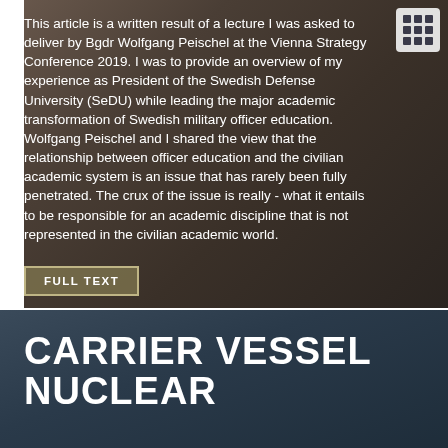[Figure (photo): Background photo of military/academic setting with dark overlay, showing hands on a surface]
This article is a written result of a lecture I was asked to deliver by Bgdr Wolfgang Peischel at the Vienna Strategy Conference 2019. I was to provide an overview of my experience as President of the Swedish Defense University (SeDU) while leading the major academic transformation of Swedish military officer education. Wolfgang Peischel and I shared the view that the relationship between officer education and the civilian academic system is an issue that has rarely been fully penetrated. The crux of the issue is really - what it entails to be responsible for an academic discipline that is not represented in the civilian academic world.
FULL TEXT
[Figure (photo): Background photo of sky/clouds with dark blue-grey overlay for the Carrier Vessel Nuclear section]
CARRIER VESSEL NUCLEAR